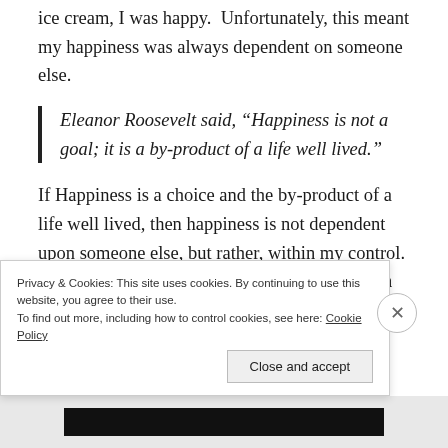ice cream, I was happy.  Unfortunately, this meant my happiness was always dependent on someone else.
Eleanor Roosevelt said, “Happiness is not a goal; it is a by-product of a life well lived.”
If Happiness is a choice and the by-product of a life well lived, then happiness is not dependent upon someone else, but rather, within my control.  Whether a life is well lived largely comes down to the choices one makes, particularly the things on which we choose to
Privacy & Cookies: This site uses cookies. By continuing to use this website, you agree to their use.
To find out more, including how to control cookies, see here: Cookie Policy
Close and accept